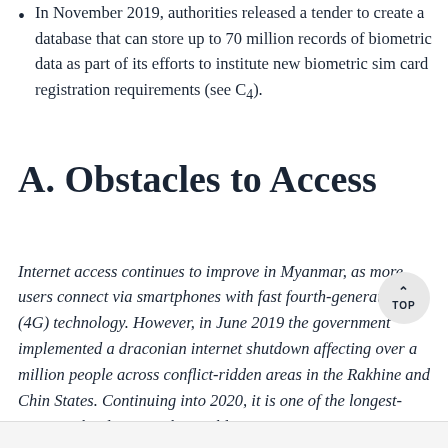In November 2019, authorities released a tender to create a database that can store up to 70 million records of biometric data as part of its efforts to institute new biometric sim card registration requirements (see C4).
A. Obstacles to Access
Internet access continues to improve in Myanmar, as more users connect via smartphones with fast fourth-generation (4G) technology. However, in June 2019 the government implemented a draconian internet shutdown affecting over a million people across conflict-ridden areas in the Rakhine and Chin States. Continuing into 2020, it is one of the longest-running shutdowns in the world.